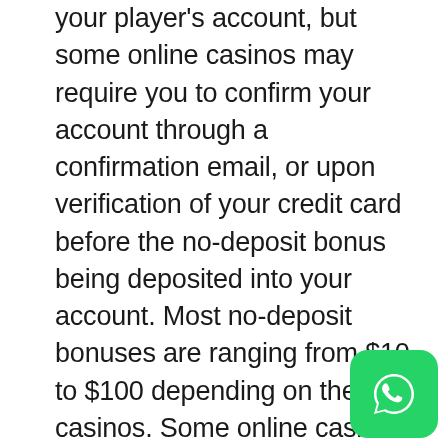your player's account, but some online casinos may require you to confirm your account through a confirmation email, or upon verification of your credit card before the no-deposit bonus being deposited into your account. Most no-deposit bonuses are ranging from $10 to $100 depending on the casinos. Some online casinos offer no-deposit bonuses in the term of free-play; this type of no-deposit bonus is normally offered for playing slots machines or video poker. Once you have sign-up a real-player account with the casino, you will be given a certain amount like $500 free-play bonus or a number of hours such as 5-hour free-play time at the casino. There are terms & conditions of wagering requirements on the no-deposit bonuses that you need to meet